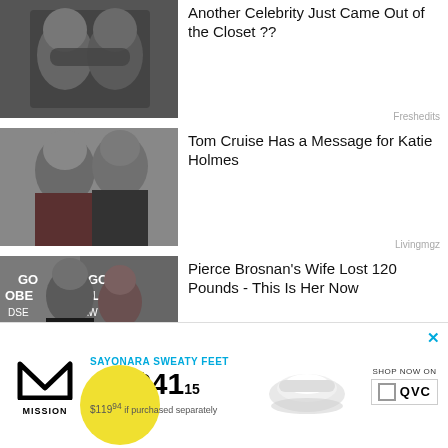[Figure (photo): Black and white photo of two people kissing closely]
Another Celebrity Just Came Out of the Closet ??
Freshedits
[Figure (photo): Tom Cruise and Katie Holmes smiling together at an event]
Tom Cruise Has a Message for Katie Holmes
Livingmgz
[Figure (photo): Pierce Brosnan and his wife at Golden Globe Awards]
Pierce Brosnan's Wife Lost 120 Pounds - This Is Her Now
Noteabley
Listen to the Royally Us podcast for
[Figure (infographic): Mission brand advertisement: Sayonara Sweaty Feet, 6-Pack $41.15, $119.94 if purchased separately, Shop Now on QVC]